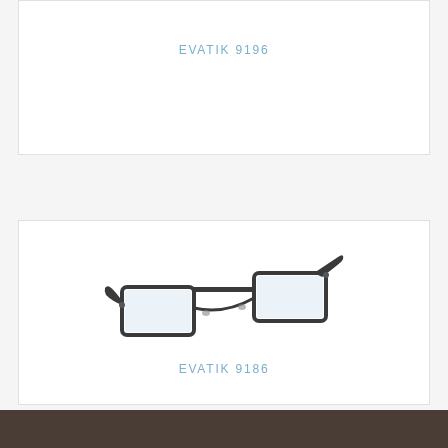[Figure (photo): Product card for EVATIK 9196 eyeglasses frame (top portion visible, no image shown in crop)]
EVATIK 9196
[Figure (photo): Product card showing EVATIK 9186 dark metal rectangular eyeglasses frame with double bridge, photographed at an angle]
EVATIK 9186